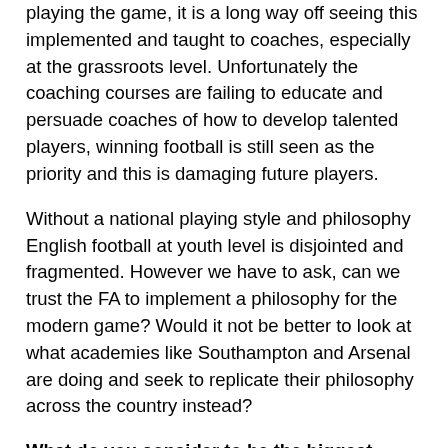playing the game, it is a long way off seeing this implemented and taught to coaches, especially at the grassroots level. Unfortunately the coaching courses are failing to educate and persuade coaches of how to develop talented players, winning football is still seen as the priority and this is damaging future players.
Without a national playing style and philosophy English football at youth level is disjointed and fragmented. However we have to ask, can we trust the FA to implement a philosophy for the modern game? Would it not be better to look at what academies like Southampton and Arsenal are doing and seek to replicate their philosophy across the country instead?
What do you consider to be the biggest problem in England?
There is some excellent work going on all through the English game, at all levels. Yet there is clearly a problem in regards to English players breaking into the top levels of professional football. The issue appears to be that these players are lacking the necessary skills and ability which